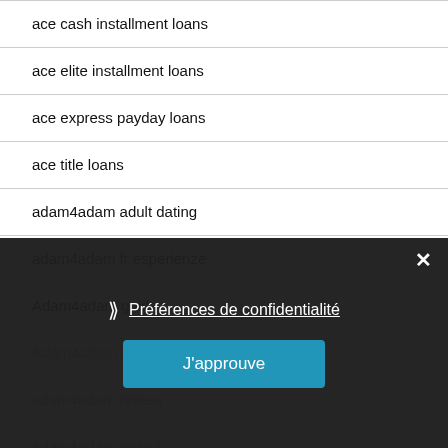ace cash installment loans
ace elite installment loans
ace express payday loans
ace title loans
adam4adam adult dating
adam4adam fr esperienze
Adam4adam guida
Adam4adam italiano
adam4adam review
adam4adam search
Adam4adam web